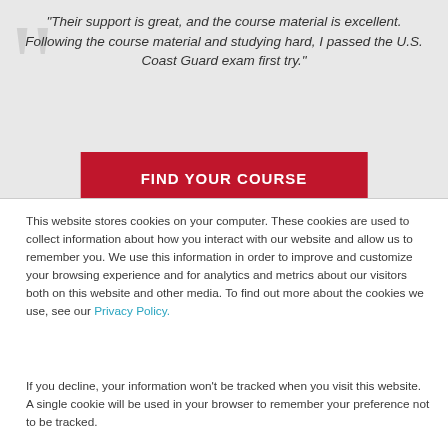“Their support is great, and the course material is excellent. Following the course material and studying hard, I passed the U.S. Coast Guard exam first try.”
FIND YOUR COURSE
This website stores cookies on your computer. These cookies are used to collect information about how you interact with our website and allow us to remember you. We use this information in order to improve and customize your browsing experience and for analytics and metrics about our visitors both on this website and other media. To find out more about the cookies we use, see our Privacy Policy.
If you decline, your information won’t be tracked when you visit this website. A single cookie will be used in your browser to remember your preference not to be tracked.
Accept
Decline